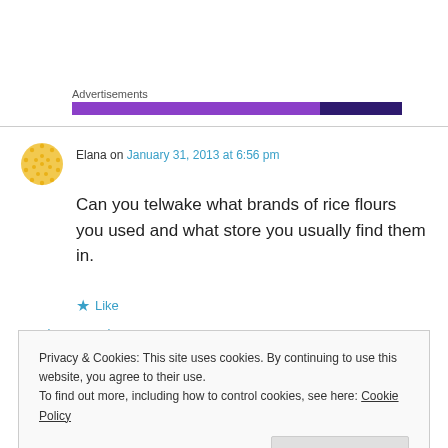Advertisements
[Figure (other): Purple advertisement bar with two-tone purple gradient blocks]
Elana on January 31, 2013 at 6:56 pm
Can you telwake what brands of rice flours you used and what store you usually find them in.
★ Like
Log in to Reply
Privacy & Cookies: This site uses cookies. By continuing to use this website, you agree to their use.
To find out more, including how to control cookies, see here: Cookie Policy
Close and accept